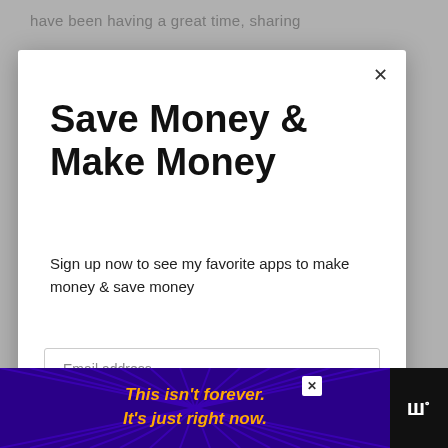have been having a great time, sharing
Save Money & Make Money
Sign up now to see my favorite apps to make money & save money
Email address
Get It Now
WHAT'S NEXT → Michaels Grab Bags:...
[Figure (screenshot): Advertisement banner with purple/blue background showing starburst lines and text: This isn't forever. It's just right now. in orange/yellow italic font]
www